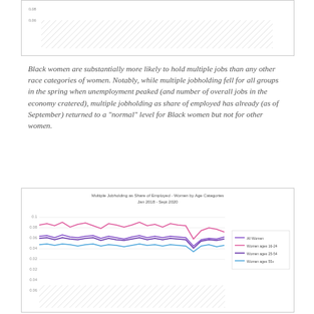[Figure (continuous-plot): Top partial chart showing hatched pattern area at bottom, partial view of a line chart with y-axis labels partially visible]
Black women are substantially more likely to hold multiple jobs than any other race categories of women. Notably, while multiple jobholding fell for all groups in the spring when unemployment peaked (and number of overall jobs in the economy cratered), multiple jobholding as share of employed has already (as of September) returned to a "normal" level for Black women but not for other women.
[Figure (line-chart): Line chart showing multiple jobholding as share of employed for women by race categories from Jan 2018 to Sept 2020. Four lines: All Women (purple), Women ages 16-24 (pink/magenta), Women ages 25-54 (dark purple), Women ages 55+ (light blue). Lines show a dip in spring 2020 then partial recovery.]